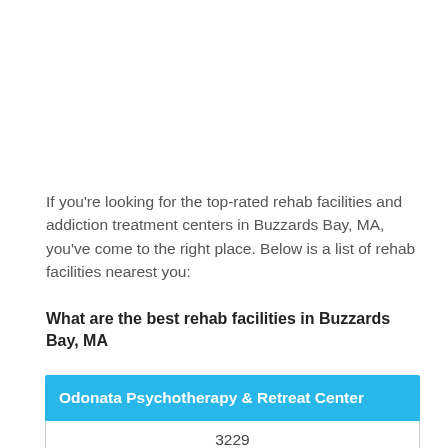If you're looking for the top-rated rehab facilities and addiction treatment centers in Buzzards Bay, MA, you've come to the right place. Below is a list of rehab facilities nearest you:
What are the best rehab facilities in Buzzards Bay, MA
| Odonata Psychotherapy & Retreat Center |
| --- |
| 3229 |
| Odonata | Cranberry |